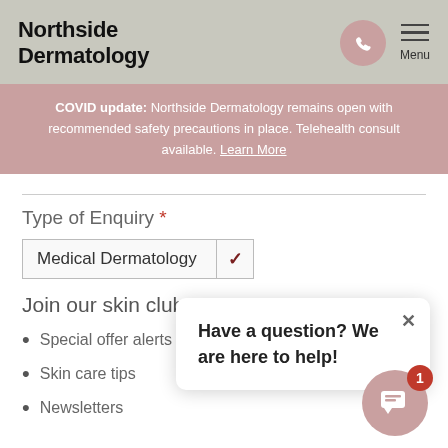Northside Dermatology
COVID update: Northside Dermatology remains open with recommended safety precautions in place. Telehealth consult available. Learn More
Type of Enquiry *
Medical Dermatology
Join our skin club:
Special offer alerts
Skin care tips
Newsletters
Have a question? We are here to help!